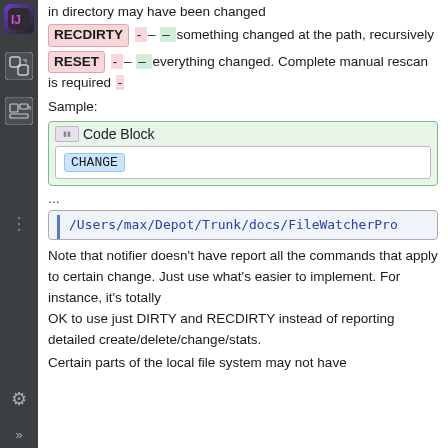in directory may have been changed
RECDIRTY - - – something changed at the path, recursively
RESET - - – everything changed. Complete manual rescan is required -
Sample:
[Figure (screenshot): Code block UI element showing a 'Code Block' label with a CHANGE keyword highlighted in blue inside a white box, surrounded by a green-bordered container.]
...
[Figure (screenshot): Code path box showing: /Users/max/Depot/Trunk/docs/FileWatcherPro (truncated)]
Note that notifier doesn't have report all the commands that apply to certain change. Just use what's easier to implement. For instance, it's totally OK to use just DIRTY and RECDIRTY instead of reporting detailed create/delete/change/stats.
Certain parts of the local file system may not have